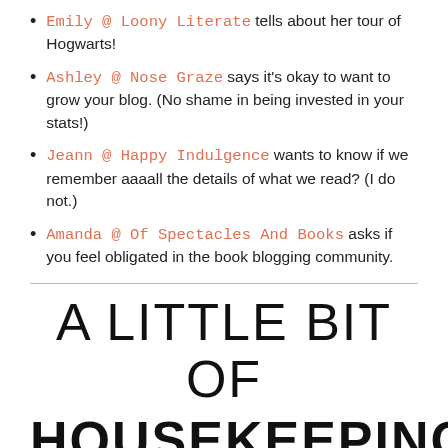Emily @ Loony Literate tells about her tour of Hogwarts!
Ashley @ Nose Graze says it's okay to want to grow your blog. (No shame in being invested in your stats!)
Jeann @ Happy Indulgence wants to know if we remember aaaall the details of what we read? (I do not.)
Amanda @ Of Spectacles And Books asks if you feel obligated in the book blogging community.
A LITTLE BIT OF HOUSEKEEPING...